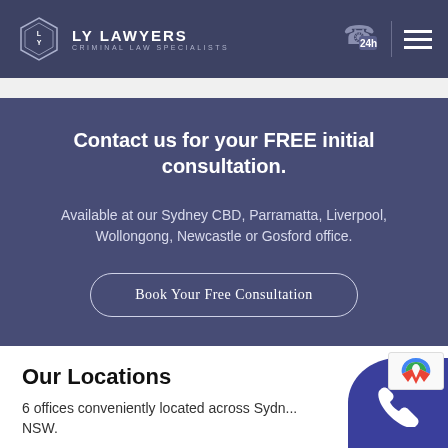LY LAWYERS — CRIMINAL LAW SPECIALISTS
Contact us for your FREE initial consultation.
Available at our Sydney CBD, Parramatta, Liverpool, Wollongong, Newcastle or Gosford office.
Book Your Free Consultation
Our Locations
6 offices conveniently located across Sydney, NSW.